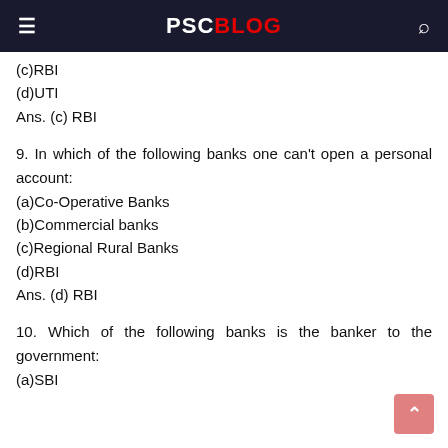PSC BLOG
(c)RBI
(d)UTI
Ans. (c) RBI
9. In which of the following banks one can't open a personal account:
(a)Co-Operative Banks
(b)Commercial banks
(c)Regional Rural Banks
(d)RBI
Ans. (d) RBI
10. Which of the following banks is the banker to the government:
(a)SBI